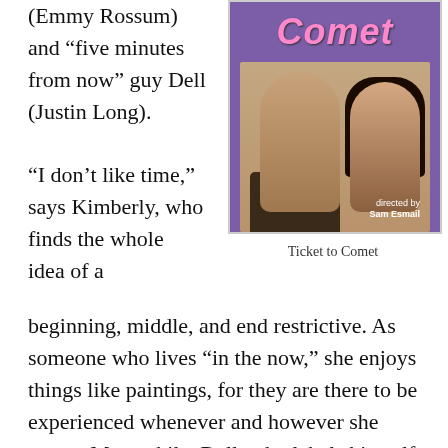(Emmy Rossum) and “five minutes from now” guy Dell (Justin Long).
[Figure (photo): Movie poster or promotional image for 'Ticket to Comet' directed by Sam Esmail, showing a man and woman facing each other with stylized pink cursive title text at the top on a purple background.]
“I don’t like time,” says Kimberly, who finds the whole idea of a
Ticket to Comet
beginning, middle, and end restrictive. As someone who lives “in the now,” she enjoys things like paintings, for they are there to be experienced whenever and however she wants. Meanwhile, Dell, who labels himself a “five minutes from now person,” is addled with fear, always pre-empting a disaster that may or may not